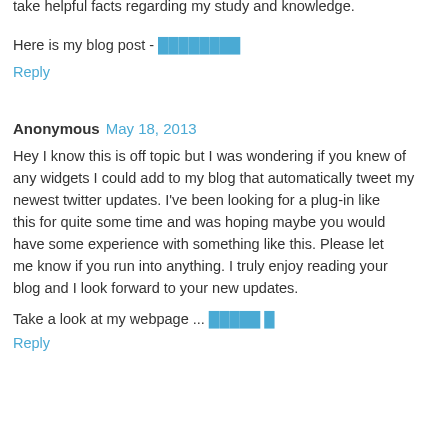take helpful facts regarding my study and knowledge.
Here is my blog post - ████████
Reply
Anonymous  May 18, 2013
Hey I know this is off topic but I was wondering if you knew of any widgets I could add to my blog that automatically tweet my newest twitter updates. I've been looking for a plug-in like this for quite some time and was hoping maybe you would have some experience with something like this. Please let me know if you run into anything. I truly enjoy reading your blog and I look forward to your new updates.
Take a look at my webpage ... █████ █
Reply